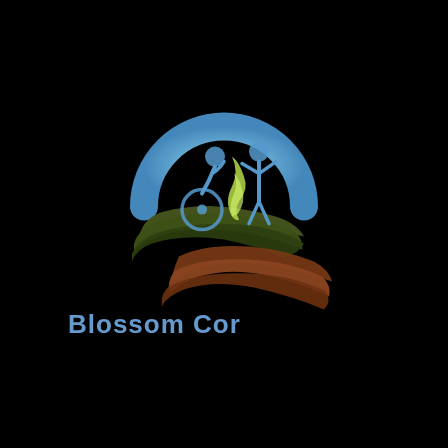[Figure (logo): Blossom Corp logo: a circular blue arc/ring at top, with a wheelchair user figure and a standing person figure in blue inside the ring, a yellow-green flame/S-curve between them, and two cupped hands in dark olive green and brown/rust colors beneath, supporting the figures. Dark black background.]
Blossom Cor